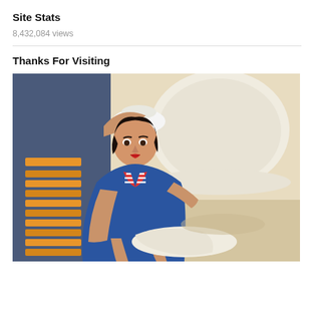Site Stats
8,432,084 views
Thanks For Visiting
[Figure (illustration): Vintage pin-up style illustration of a woman in a blue swimsuit with red and white striped top, reclining with her arm raised, wearing a white sailor hat, next to a large white hat or object, beach scene background.]